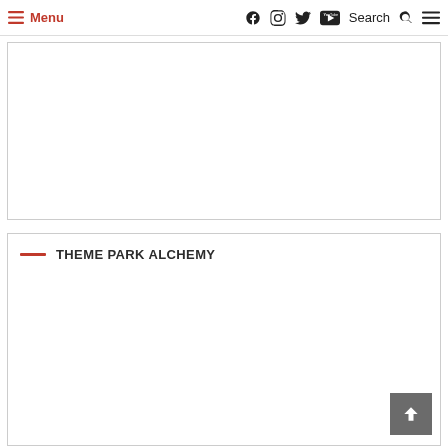Menu — [social icons: Facebook, Instagram, Twitter, YouTube] — Search — [hamburger menu]
[Figure (other): Large empty white advertisement or image placeholder box with light gray border]
THEME PARK ALCHEMY
[Figure (other): Scroll-to-top button with upward arrow, dark gray background, positioned bottom-right]